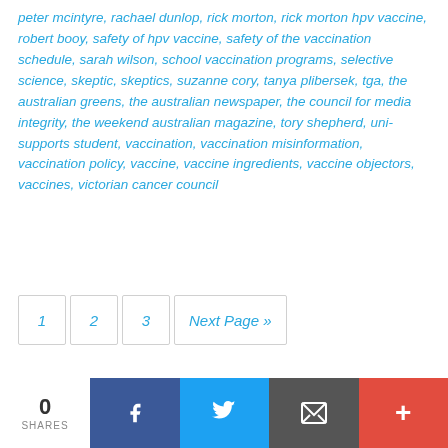peter mcintyre, rachael dunlop, rick morton, rick morton hpv vaccine, robert booy, safety of hpv vaccine, safety of the vaccination schedule, sarah wilson, school vaccination programs, selective science, skeptic, skeptics, suzanne cory, tanya plibersek, tga, the australian greens, the australian newspaper, the council for media integrity, the weekend australian magazine, tory shepherd, uni-supports student, vaccination, vaccination misinformation, vaccination policy, vaccine, vaccine ingredients, vaccine objectors, vaccines, victorian cancer council
1
2
3
Next Page »
0 SHARES | Facebook | Twitter | Email | +